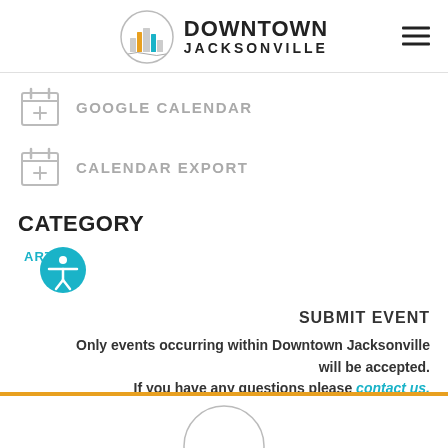Downtown Jacksonville
GOOGLE CALENDAR
CALENDAR EXPORT
CATEGORY
ART
SUBMIT EVENT
Only events occurring within Downtown Jacksonville will be accepted. If you have any questions please contact us.